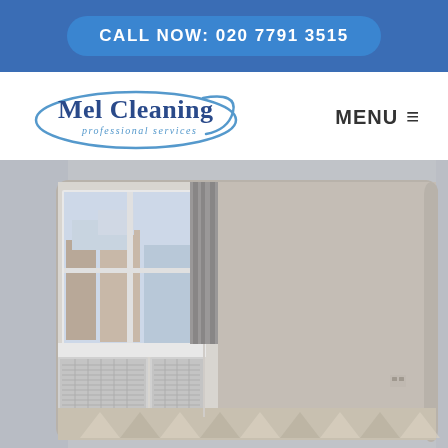CALL NOW: 020 7791 3515
[Figure (logo): Mel Cleaning professional services logo with blue ellipse swash]
MENU ☰
[Figure (photo): Interior room photo showing a clean empty room with large windows, grey curtains, radiator covers, beige walls, and patterned carpet with triangle motifs]